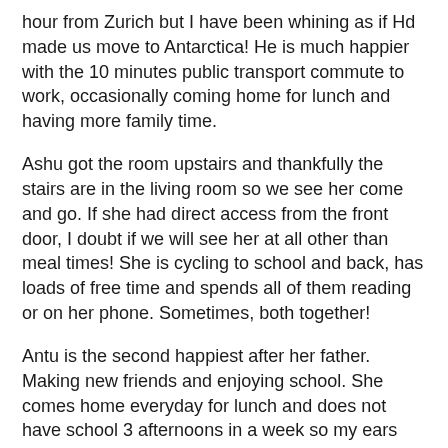hour from Zurich but I have been whining as if Hd made us move to Antarctica! He is much happier with the 10 minutes public transport commute to work, occasionally coming home for lunch and having more family time.
Ashu got the room upstairs and thankfully the stairs are in the living room so we see her come and go. If she had direct access from the front door, I doubt if we will see her at all other than meal times! She is cycling to school and back, has loads of free time and spends all of them reading or on her phone. Sometimes, both together!
Antu is the second happiest after her father. Making new friends and enjoying school. She comes home everyday for lunch and does not have school 3 afternoons in a week so my ears are bleeding with her non stop talking! Ask me which teacher is getting married, why Jack did not come to school last week or what Sophia's favorite color is and I will tell you!
Found a Carnatic music teacher for Antu and she is continuing ballet and piano lessons too. So lots of driving